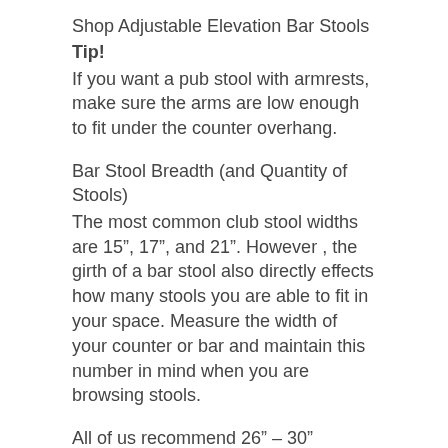Shop Adjustable Elevation Bar Stools
Tip!
If you want a pub stool with armrests, make sure the arms are low enough to fit under the counter overhang.
Bar Stool Breadth (and Quantity of Stools)
The most common club stool widths are 15”, 17”, and 21”. However , the girth of a bar stool also directly effects how many stools you are able to fit in your space. Measure the width of your counter or bar and maintain this number in mind when you are browsing stools.
All of us recommend 26” – 30” between the centers of each bar stool. This leaves in least 6” between every seat to get into and out of the seat very easily and not bump elbows with anyone. Wider stools should have even more area between chairs, with 8” – 10” between